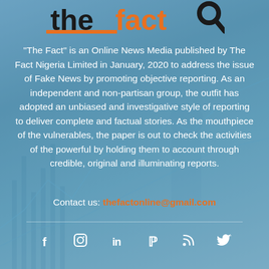[Figure (logo): The Fact logo with dark 'the' text and orange 'fact' text with a magnifying glass graphic]
"The Fact" is an Online News Media published by The Fact Nigeria Limited in January, 2020 to address the issue of Fake News by promoting objective reporting. As an independent and non-partisan group, the outfit has adopted an unbiased and investigative style of reporting to deliver complete and factual stories. As the mouthpiece of the vulnerables, the paper is out to check the activities of the powerful by holding them to account through credible, original and illuminating reports.
Contact us: thefactonline@gmail.com
[Figure (infographic): Social media icons row: Facebook (f), Instagram, LinkedIn (in), Pinterest (p), RSS, Twitter (bird icon)]